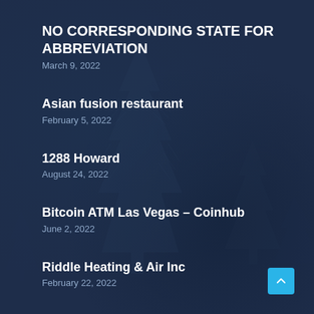NO CORRESPONDING STATE FOR ABBREVIATION
March 9, 2022
Asian fusion restaurant
February 5, 2022
1288 Howard
August 24, 2022
Bitcoin ATM Las Vegas – Coinhub
June 2, 2022
Riddle Heating & Air Inc
February 22, 2022